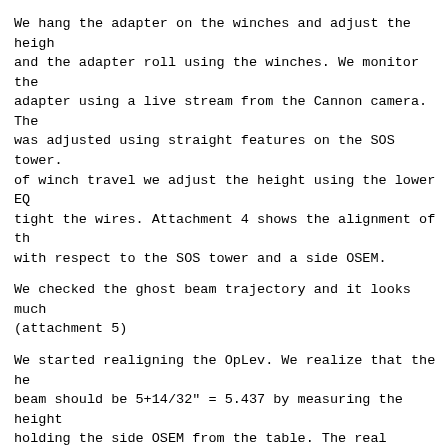We hang the adapter on the winches and adjust the heigh and the adapter roll using the winches. We monitor the adapter using a live stream from the Cannon camera. The was adjusted using straight features on the SOS tower. of winch travel we adjust the height using the lower EQ tight the wires. Attachment 4 shows the alignment of th with respect to the SOS tower and a side OSEM.
We checked the ghost beam trajectory and it looks much (attachment 5)
We started realigning the OpLev. We realize that the he beam should be 5+14/32" = 5.437 by measuring the height holding the side OSEM from the table. The real height f schematics is 5.425 We make the beam parallel with the using an iris and then the QPD.
Today, I balanced the counterweight. First using an iri placing a QPD close to the SOS measuring the reflection locked the counterweight's set screw and the QPD Y read Attachment 6 shows the QPD y readout near the beat node and pos. The node comes very close to zero which indica pitch is balanced.
I measured the free-swinging motion using the QPD x and Attachment 7 shows the spectra of that motion. The majo 755mHz, 953mHz, and 1.05Hz.